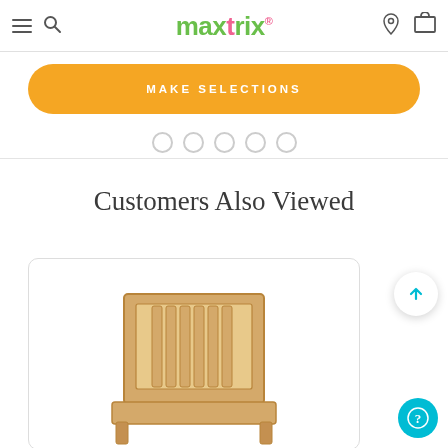maxtrix
MAKE SELECTIONS
Customers Also Viewed
[Figure (photo): A wooden bed frame with slatted headboard shown partially at the bottom of the page inside a product card]